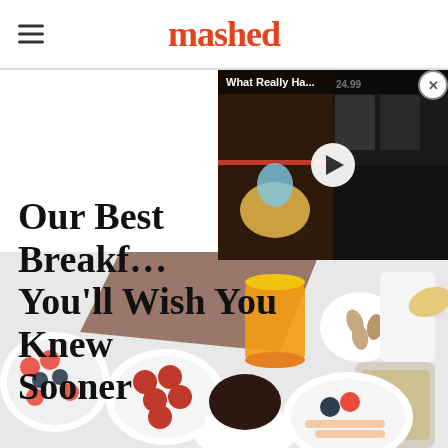mashed
[Figure (screenshot): Video overlay thumbnail showing 'What Really Ha...' with a play button, colorful background with food imagery]
Our Best Breakfast Tips You'll Wish You Knew Sooner
[Figure (photo): Overhead flat-lay photo of various breakfast foods including bowls of fruit with strawberries, blueberries, raspberries, a glass of orange juice, almonds, a pitcher of milk, granola jars, croissant, banana slices, and a cup of coffee on a light gray surface with a brown napkin]